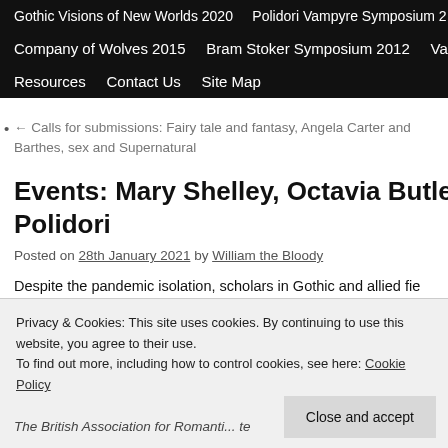Gothic Visions of New Worlds 2020   Polidori Vampyre Symposium 2   Company of Wolves 2015   Bram Stoker Symposium 2012   Vampir...   Resources   Contact Us   Site Map
← Calls for submissions: Fairy tale and fantasy, Angela Carter and Barthes, sex and Supernatural
Events: Mary Shelley, Octavia Butler, Got... Polidori
Posted on 28th January 2021 by William the Bloody
Despite the pandemic isolation, scholars in Gothic and allied fie... keep literary and cultural dialogue flourishing with on-line even...
Privacy & Cookies: This site uses cookies. By continuing to use this website, you agree to their use.
To find out more, including how to control cookies, see here: Cookie Policy
The British Association for Romantic... te... session of our Digital Events series: The Late Mary She...